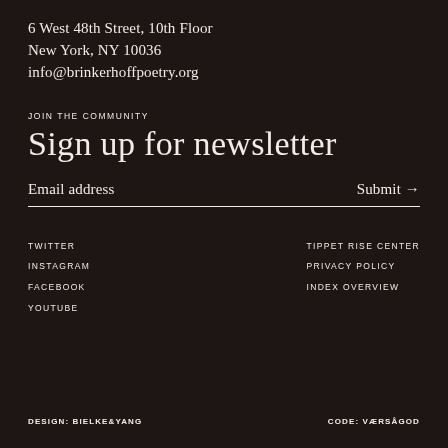6 West 48th Street, 10th Floor
New York, NY 10036
info@brinkerhoffpoetry.org
JOIN THE COMMUNITY
Sign up for newsletter
Email address    Submit →
TWITTER
INSTAGRAM
FACEBOOK
YOUTUBE
TIPPET RISE CENTER
PRIVACY POLICY
INDEX OVERVIEW
DESIGN: BIELKE&YANG    CODE: VÆRSÅGOD